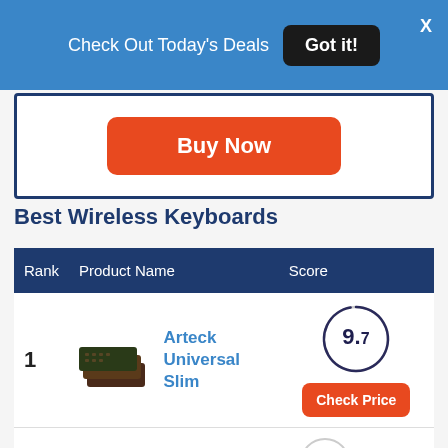Check Out Today's Deals  Got it!  X
[Figure (other): Orange Buy Now button inside a white card with dark blue border]
Best Wireless Keyboards
| Rank | Product Name | Score |
| --- | --- | --- |
| 1 | Arteck Universal Slim | 9.7 |